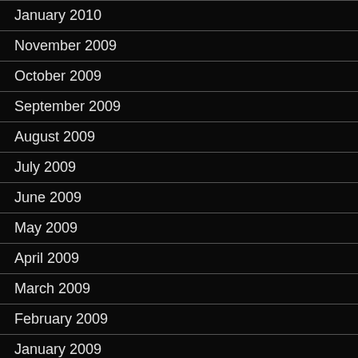January 2010
November 2009
October 2009
September 2009
August 2009
July 2009
June 2009
May 2009
April 2009
March 2009
February 2009
January 2009
December 2008